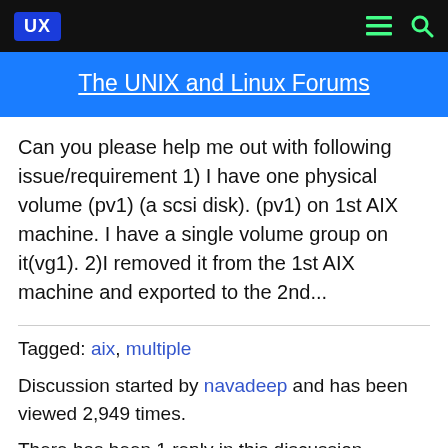UX | The UNIX and Linux Forums
The UNIX and Linux Forums
Can you please help me out with following issue/requirement 1) I have one physical volume (pv1) (a scsi disk). (pv1) on 1st AIX machine. I have a single volume group on it(vg1). 2)I removed it from the 1st AIX machine and exported to the 2nd...
Tagged: aix, multiple
Discussion started by navadeep and has been viewed 2,949 times.
There has been 1 reply in this discussion.